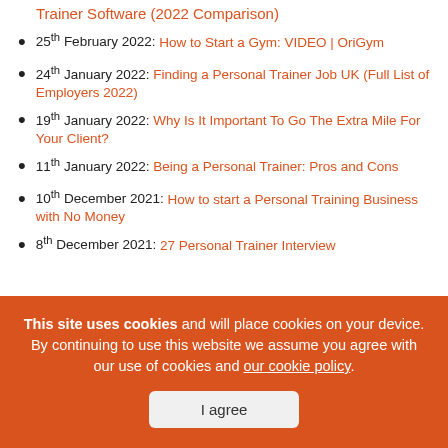Trainer Software (2022 Comparison)
25th February 2022: How to Start a Gym: VIDEO | OriGym
24th January 2022: Finding a Personal Trainer Job UK (Full List of Employers 2022)
19th January 2022: Why Is It Important To Go The Extra Mile For Your Client?
11th January 2022: Being a Personal Trainer: Pros and Cons
10th December 2021: How to start a Personal Training Business with No Money
8th December 2021: 27 Personal Trainer Interview
This site uses cookies and will place cookies on your device. By continuing to use this website we assume you agree with our use of cookies and our cookie policy.